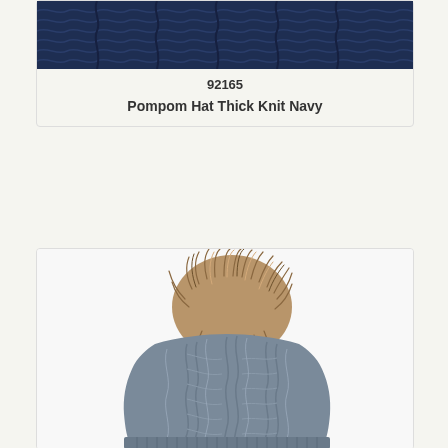[Figure (photo): Close-up of a navy blue thick knit pompom hat, showing the textured knit pattern at the top of the frame]
92165
Pompom Hat Thick Knit Navy
[Figure (photo): Gray cable knit pompom hat with faux fur brown/tan pompom on top, shown from the back/side angle on a white background]